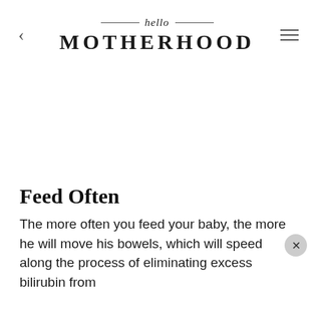hello MOTHERHOOD
Feed Often
The more often you feed your baby, the more he will move his bowels, which will speed along the process of eliminating excess bilirubin from